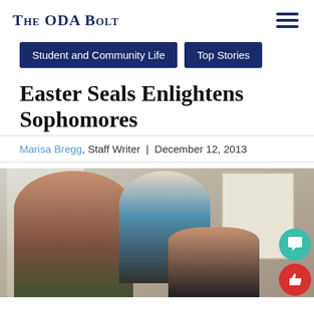The ODA Bolt
Student and Community Life
Top Stories
Easter Seals Enlightens Sophomores
Marisa Bregg, Staff Writer | December 12, 2013
[Figure (photo): Two students and one student in a wheelchair posing together in a classroom setting with a whiteboard visible in the background.]